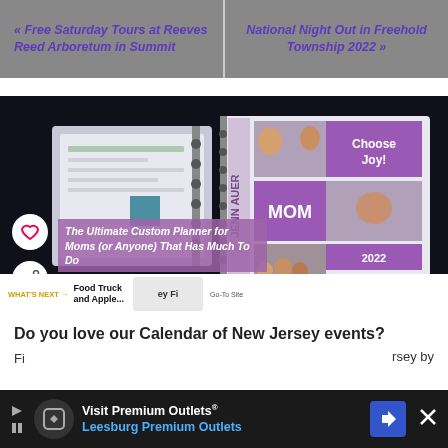« Free Saturday Tours at Reeves Reed Arboretum in Summit
National Night Out in Freehold Township 2022 »
[Figure (photo): Photo of a custom spiral-bound planner personalized with the name 'Jenn Auer', family photos, the word 'MOM', 'Choose Joy!' text, and '2022'. Two planner views: closed and open inside pages.]
The Ultimate Custom Planner for Moms (or Anyone) That Has Much To Do
Do you love our Calendar of New Jersey events?
[Figure (screenshot): Advertisement banner for Visit Premium Outlets® Leesburg Premium Outlets with logo icons and a close button.]